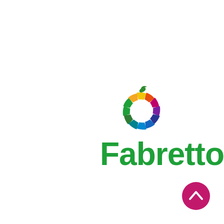[Figure (logo): Fabretto logo: colorful circular fruit/apple icon made of colored arc segments (green, orange, yellow, red/orange, magenta, purple, blue, light blue, teal, green) with a green leaf stem at top, followed by the word 'Fabretto' in bold green text]
[Figure (other): Magenta/pink circular navigation button with a white upward chevron arrow icon]